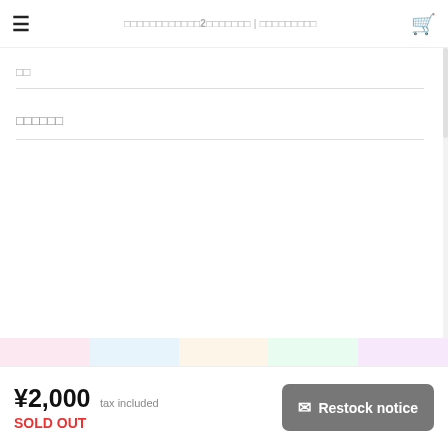□□□□□□□□□□□2□□□□□□□ | □□□□□□□□□
□□
□□□□□□
[Figure (illustration): A grid of anime/manga style chibi character illustrations on pastel colored tile backgrounds. Characters appear to be various cute schoolgirl-type figures in different poses and outfits.]
□□□□□□□□
© □□□□□□□□□□
Powered by BASE
¥2,000 tax included
SOLD OUT
✉ Restock notice